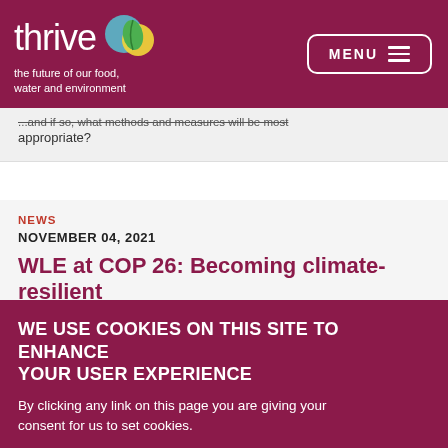thrive — the future of our food, water and environment | MENU
...and if so, what methods and measures will be most appropriate?
NEWS
NOVEMBER 04, 2021
WLE at COP 26: Becoming climate-resilient
WE USE COOKIES ON THIS SITE TO ENHANCE YOUR USER EXPERIENCE
By clicking any link on this page you are giving your consent for us to set cookies.
OK, I AGREE    NO, GIVE ME MORE INFO